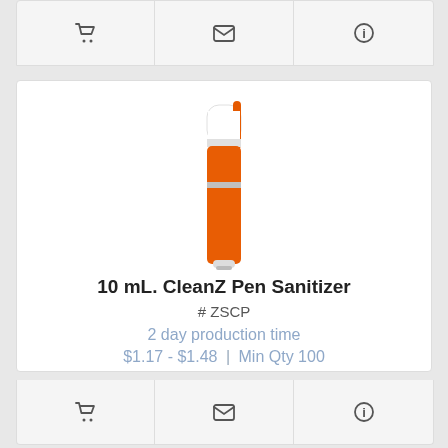[Figure (other): Top action bar with shopping cart, envelope, and info icons]
[Figure (photo): Orange pen-shaped 10mL CleanZ hand sanitizer with white cap and 'zoover' branding text rotated vertically on the body]
10 mL. CleanZ Pen Sanitizer
# ZSCP
2 day production time
$1.17 - $1.48 | Min Qty 100
[Figure (other): Bottom action bar with shopping cart, envelope, and info icons]